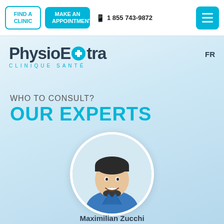FIND A CLINIC | MAKE AN APPOINTMENT | 1 855 743-9872
[Figure (logo): PhysioExtra Clinique Santé logo with blue cross icon and FR language link]
WHO TO CONSULT?
OUR EXPERTS
[Figure (photo): Circular portrait photo of Maximilian Zucchi, a smiling man with dark hair and beard wearing a blue shirt]
Maximilian Zucchi